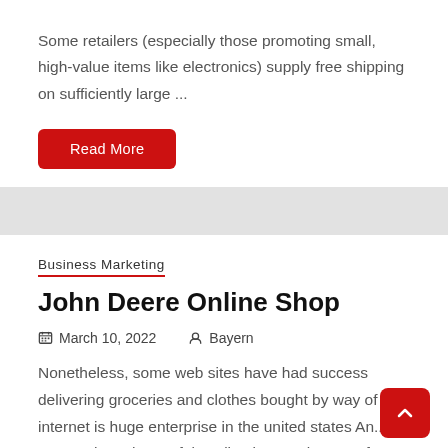Some retailers (especially those promoting small, high-value items like electronics) supply free shipping on sufficiently large ...
Read More
Business Marketing
John Deere Online Shop
March 10, 2022   Bayern
Nonetheless, some web sites have had success delivering groceries and clothes bought by way of internet is huge enterprise in the united states An... approach to shop safely online is to make use of a credit